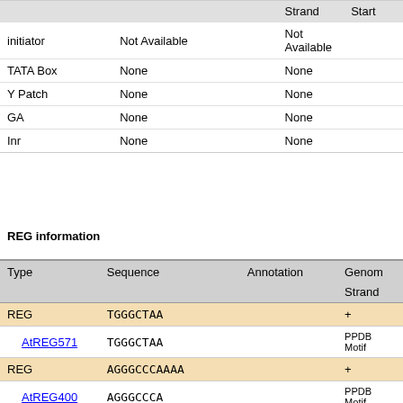|  |  | Strand | Start |
| --- | --- | --- | --- |
| initiator | Not Available | Not Available |  |
| TATA Box | None | None |  |
| Y Patch | None | None |  |
| GA | None | None |  |
| Inr | None | None |  |
REG information
| Type | Sequence | Annotation | Genom
Strand |
| --- | --- | --- | --- |
| REG | TGGGCTAA |  | + |
| AtREG571 | TGGGCTAA |  | PPDB
Motif |
| REG | AGGGCCCAAAA |  | + |
| AtREG400 | AGGGCCCA |  | PPDB
Motif |
| AtREG392 | GGGCCCAA |  | PPDB
Motif |
| AtREG373 | GGCCCAAA |  | PPDB
Motif |
| AtREG529 | GCCCAAAA |  | PPDB
Motif |
| REG | ACACGTCAC |  | + |
| AtREG517 | ACACGTCA | ABA | PPDB
Motif |
| AtREG466 | CACGTCAC | ABA | PPDB |